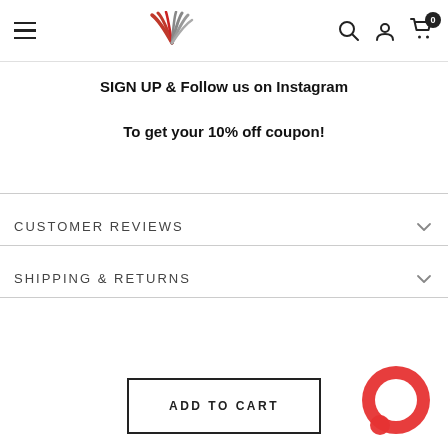Navigation header with hamburger menu, logo, search icon, account icon, and cart (0)
SIGN UP & Follow us on Instagram
To get your 10% off coupon!
CUSTOMER REVIEWS
SHIPPING & RETURNS
ADD TO CART